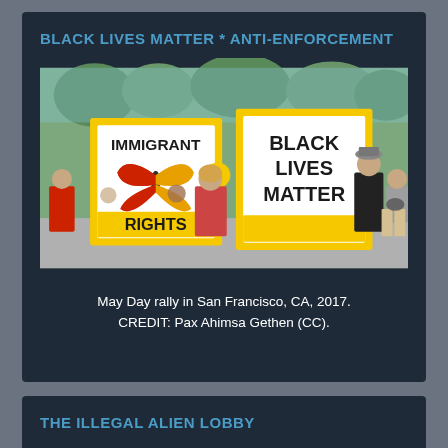BLACK LIVES MATTER * ANTI-ENFORCEMENT
[Figure (photo): May Day rally in San Francisco showing protesters holding yellow-bordered signs reading 'IMMIGRANT RIGHTS' (with a butterfly) and 'BLACK LIVES MATTER', 2017.]
May Day rally in San Francisco, CA, 2017. CREDIT: Pax Ahimsa Gethen (CC).
THE ILLEGAL ALIEN LOBBY